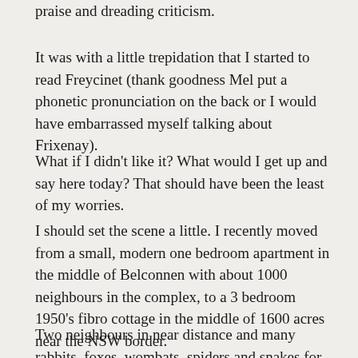praise and dreading criticism.
It was with a little trepidation that I started to read Freycinet (thank goodness Mel put a phonetic pronunciation on the back or I would have embarrassed myself talking about Frixenay).
What if I didn't like it?  What would I get up and say here today?  That should have been the least of my worries.
I should set the scene a little.  I recently moved from a small, modern one bedroom apartment in the middle of Belconnen with about 1000 neighbours in the complex, to a 3 bedroom 1950's fibro cottage in the middle of 1600 acres near the NSW border.
Two neighbours in near distance and many rabbits, foxes, wombats, spiders and snakes for company.  The cottage has